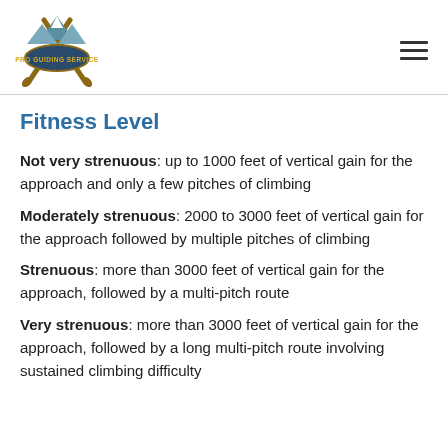[Figure (logo): Pro Guiding Service logo with mountains, ice axes, and oval badge]
Fitness Level
Not very strenuous: up to 1000 feet of vertical gain for the approach and only a few pitches of climbing
Moderately strenuous: 2000 to 3000 feet of vertical gain for the approach followed by multiple pitches of climbing
Strenuous: more than 3000 feet of vertical gain for the approach, followed by a multi-pitch route
Very strenuous: more than 3000 feet of vertical gain for the approach, followed by a long multi-pitch route involving sustained climbing difficulty